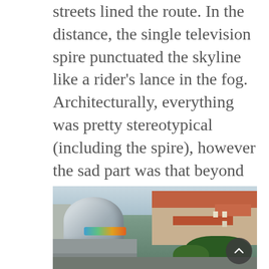crumbling housing blocks, and tired side streets lined the route. In the distance, the single television spire punctuated the skyline like a rider's lance in the fog. Architecturally, everything was pretty stereotypical (including the spire), however the sad part was that beyond the buildings things were not all that different in parts of the US. As industry moved out, nothing moved back in. Parts of the post-Cold War East resembled parts of the post-Cold War West.
[Figure (photo): Photograph showing a large silver geodesic dome structure with graffiti on its lower portion, set against a background of traditional European buildings with red-tiled roofs and green trees.]